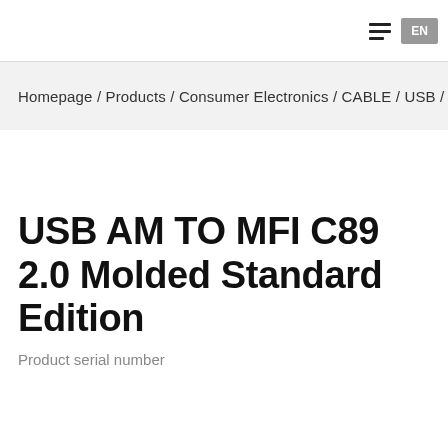EN
Homepage / Products / Consumer Electronics / CABLE / USB / U
USB AM TO MFI C89 2.0 Molded Standard Edition
Product serial number